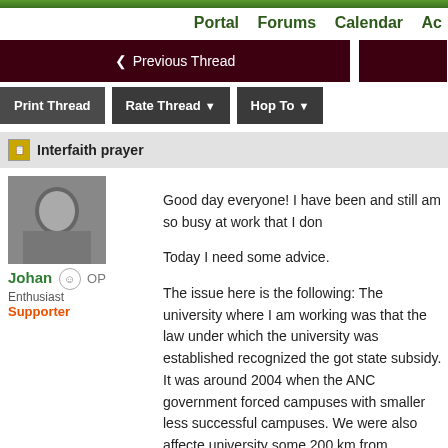Portal   Forums   Calendar   Ac
◄ Previous Thread
Print Thread   Rate Thread ▼   Hop To ▼
Interfaith prayer
Johan  OP
Enthusiast
Supporter
Good day everyone! I have been and still am so busy at work that I don
Today I need some advice.
The issue here is the following: The university where I am working was that the law under which the university was established recognized the got state subsidy. It was around 2004 when the ANC government forced campuses with smaller less successful campuses. We were also affecte university some 200 km from Potchefstroom. We had a very good vice